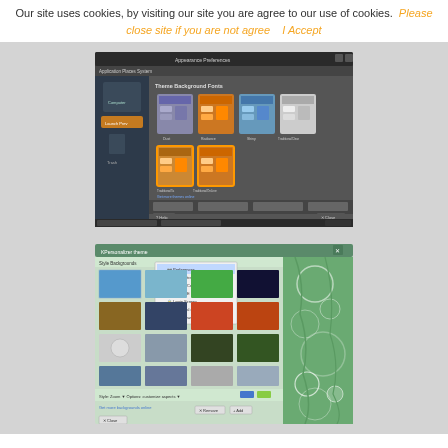Our site uses cookies, by visiting our site you are agree to our use of cookies. Please close site if you are not agree   I Accept
[Figure (screenshot): Screenshot of a Linux desktop appearance preferences dialog showing theme options including Dust, Radiance, Shiny, TraditionalClear, TraditionalTa, TraditionalOnline themes with thumbnail previews]
[Figure (screenshot): Screenshot of a KDE desktop background selection dialog showing a grid of wallpaper thumbnails with various nature and abstract images, with a dropdown menu visible showing options like Preferences, Administration, Control Center, About KDE, Login Screen, Help Dial email, Shut Down]